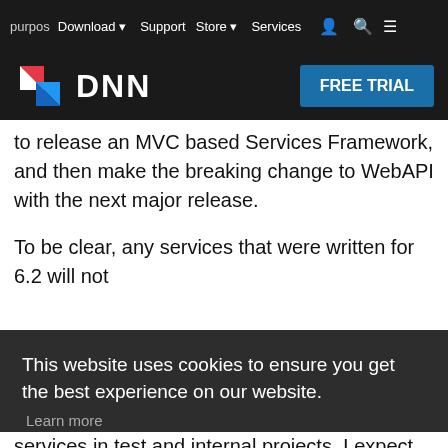purpose Download Support Store Services FREE TRIAL
s that WebAPI was a better approach for Rest services than MVC. Since 6.2 was scheduled for release well before WebAPI, we made the hard choice to release an MVC based Services Framework, and then make the breaking change to WebAPI with the next major release.
To be clear, any services that were written for 6.2 will not work in 7. All existing services must be converted to WebAPI. While this is a drastic change, it to an MVC based system, any type of Service could be set faster after having compiled one or some.
This content walks through the process of converting all of the core services to WebAPI. Several services in test and internal projects. I expect following
This website uses cookies to ensure you get the best experience on our website.
Learn more
Decline
Allow cookies